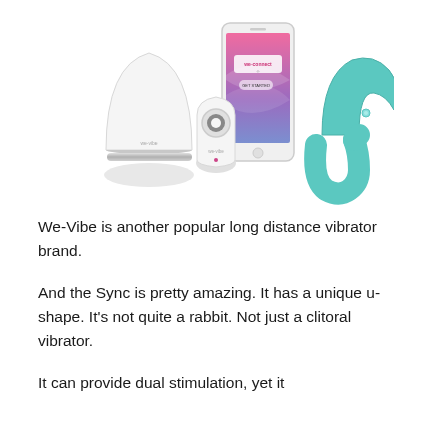[Figure (photo): Product photo showing We-Vibe products: a white dome-shaped vibrator, a white oval remote control, a smartphone displaying the We-Connect app with pink/purple wave design, and a teal u-shaped couple's vibrator.]
We-Vibe is another popular long distance vibrator brand.
And the Sync is pretty amazing. It has a unique u-shape. It's not quite a rabbit. Not just a clitoral vibrator.
It can provide dual stimulation, yet it